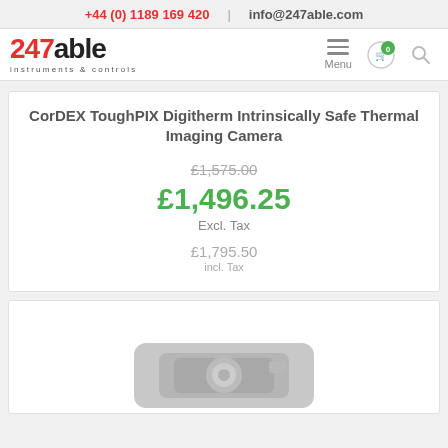+44 (0) 1189 169 420 | info@247able.com
[Figure (logo): 247able instruments & controls logo with hamburger menu, cart with 0 badge, and search icon]
CorDEX ToughPIX Digitherm Intrinsically Safe Thermal Imaging Camera
£1,575.00 (strikethrough)
£1,496.25 Excl. Tax
£1,795.50 incl. Tax
[Figure (photo): Partial view of thermal imaging camera product image at bottom of page]